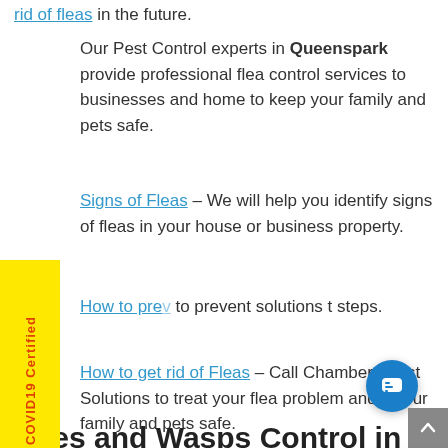rid of fleas in the future.
Our Pest Control experts in Queenspark provide professional flea control services to businesses and home to keep your family and pets safe.
Signs of Fleas – We will help you identify signs of fleas in your house or business property.
How to pre[vent fleas] – [text partially hidden] to prevent [flea] solutions t[o] steps.
How to get rid of Fleas – Call Chambers Pest Solutions to treat your flea problem and keep your family and pets safe.
Bees and Wasps Control in
[Figure (photo): Chat popup overlay with avatar photo of a man, text: Speak to a Pest Control expert right now.. Text here, with close button]
[Figure (other): COVID19 Certified vertical yellow badge on left side]